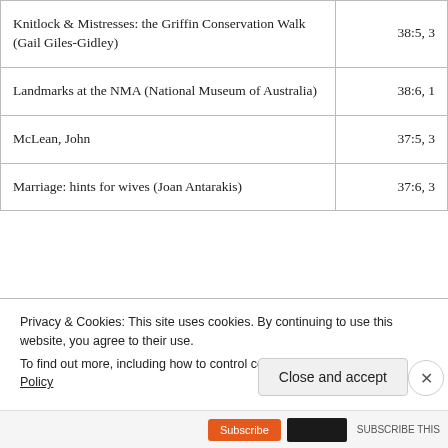|  |  |
| --- | --- |
| Knitlock & Mistresses: the Griffin Conservation Walk (Gail Giles-Gidley) | 38:5, 3 |
| Landmarks at the NMA (National Museum of Australia) | 38:6, 1 |
| McLean, John | 37:5, 3 |
| Marriage: hints for wives (Joan Antarakis) | 37:6, 3 |
| Machroom Brothers pottery factory: Chatswood... | 37:8, 3 |
Privacy & Cookies: This site uses cookies. By continuing to use this website, you agree to their use.
To find out more, including how to control cookies, see here: Cookie Policy